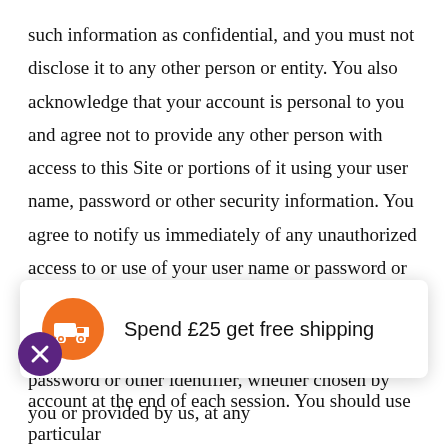such information as confidential, and you must not disclose it to any other person or entity. You also acknowledge that your account is personal to you and agree not to provide any other person with access to this Site or portions of it using your user name, password or other security information. You agree to notify us immediately of any unauthorized access to or use of your user name or password or any other breach of security, including but not limited to, if you lose your user name or password. You also agree to ensure that you exit from your account at the end of each session. You should use particular
[Figure (infographic): Notification banner with orange truck icon and text 'Spend £25 get free shipping', with a purple close (X) button]
password or other personal information. We have the right to disable any user name, password or other identifier, whether chosen by you or provided by us, at any